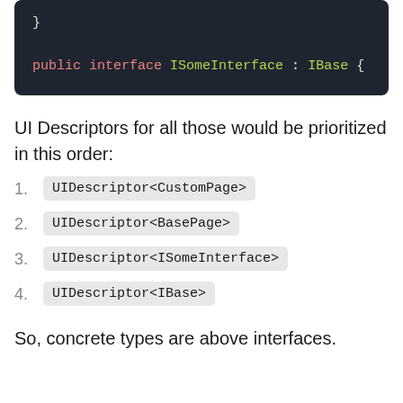[Figure (screenshot): Dark-themed code block showing: } on first line, then: public interface ISomeInterface : IBase {]
UI Descriptors for all those would be prioritized in this order:
1. UIDescriptor<CustomPage>
2. UIDescriptor<BasePage>
3. UIDescriptor<ISomeInterface>
4. UIDescriptor<IBase>
So, concrete types are above interfaces.